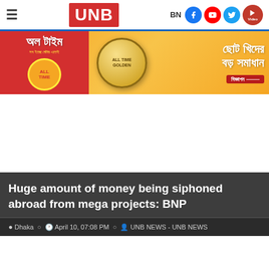UNB — BN | Navigation bar with hamburger menu, logo, and social icons (Facebook, YouTube, Twitter, Video)
[Figure (illustration): Advertisement banner for 'All Time' biscuits with red left panel showing brand name, central product image of a golden biscuit pack, and Bengali text on yellow background reading 'ছোট খিদের বড় সমাধান' (Small hunger big solution)]
Huge amount of money being siphoned abroad from mega projects: BNP
Dhaka  April 10, 07:08 PM  UNB NEWS - UNB NEWS